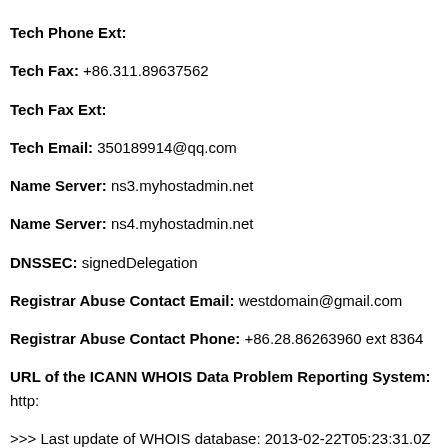Tech Phone Ext:
Tech Fax: +86.311.89637562
Tech Fax Ext:
Tech Email: 350189914@qq.com
Name Server: ns3.myhostadmin.net
Name Server: ns4.myhostadmin.net
DNSSEC: signedDelegation
Registrar Abuse Contact Email: westdomain@gmail.com
Registrar Abuse Contact Phone: +86.28.86263960 ext 8364
URL of the ICANN WHOIS Data Problem Reporting System: http:
>>> Last update of WHOIS database: 2013-02-22T05:23:31.0Z <<<
For more information on Whois status codes, please visit https://www
| 域名信息 | 邮箱 |
| --- | --- |
| 1215art.com | 350189914@qq.com |
| 0311cn.net | 350189914@qq.com |
| sjzglwxsh.com | 350189914@qq.com |
|  |  |